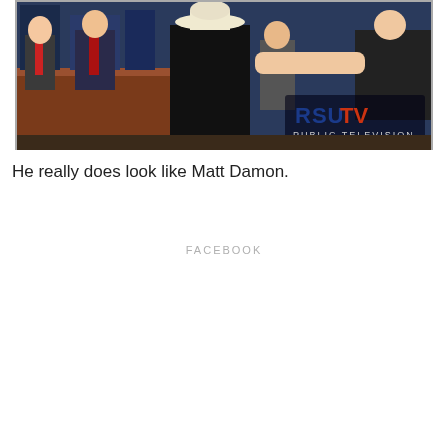[Figure (photo): A television broadcast scene showing several people at a debate or panel setting. A man in a black suit and white cowboy hat stands center, facing away from camera. Other men in suits are visible at a desk to the left. A person in a black t-shirt extends an arm from the right. The RSU TV Public Television logo is visible in the lower right corner of the image.]
He really does look like Matt Damon.
FACEBOOK